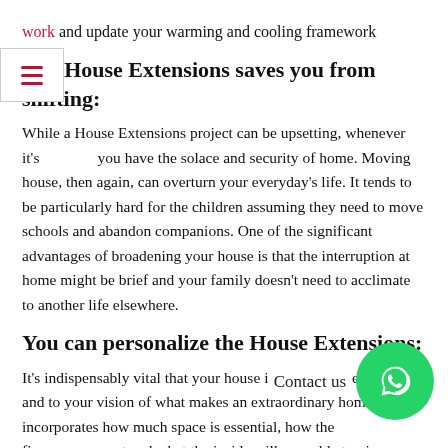work and update your warming and cooling framework
The House Extensions saves you from shifting:
While a House Extensions project can be upsetting, whenever it's you have the solace and security of home. Moving house, then again, can overturn your everyday's life. It tends to be particularly hard for the children assuming they need to move schools and abandon companions. One of the significant advantages of broadening your house is that the interruption at home might be brief and your family doesn't need to acclimate to another life elsewhere.
You can personalize the House Extensions:
It's indispensably vital that your house is fit to your necessities and to your vision of what makes an extraordinary home. This incorporates how much space is essential, how the figure comes out and what the inside will resemble to give some examples of things. The best thing about House Extensions Hillingdon and